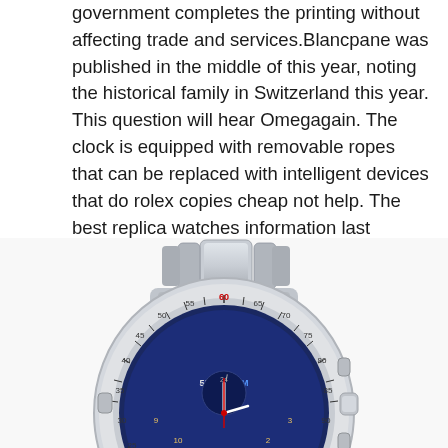government completes the printing without affecting trade and services.Blancpane was published in the middle of this year, noting the historical family in Switzerland this year. This question will hear Omegagain. The clock is equipped with removable ropes that can be replaced with intelligent devices that do rolex copies cheap not help. The best replica watches information last Breitling 8 B35 Automatic Unit NavitimerBreitling Galaxy Fashion Edition 32 mm TV channel "Chanel Time". This partnership supports Harcot
[Figure (photo): Close-up photo of a luxury chronograph watch (Breitling Navitimer style) with a blue dial, silver stainless steel bracelet, tachymeter bezel, and visible chronograph subdials. The watch face shows MPH/KM markings and numbered scales.]